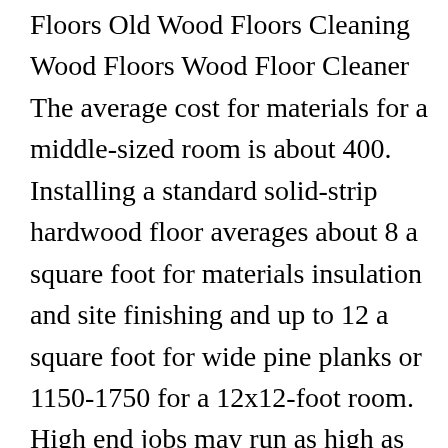Floors Old Wood Floors Cleaning Wood Floors Wood Floor Cleaner The average cost for materials for a middle-sized room is about 400. Installing a standard solid-strip hardwood floor averages about 8 a square foot for materials insulation and site finishing and up to 12 a square foot for wide pine planks or 1150-1750 for a 12x12-foot room. High end jobs may run as high as 13 to 25 or more per square foot. Calculating your own hardwood installation prices is not straightforward proper consideration